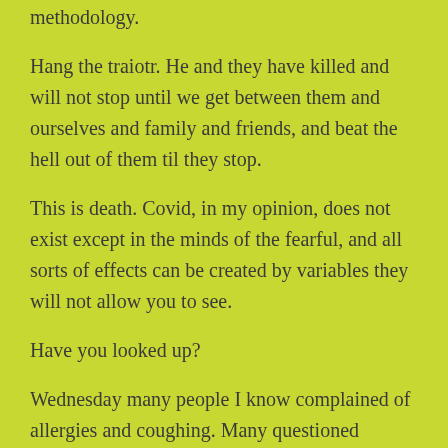methodology.
Hang the traiotr. He and they have killed and will not stop until we get between them and ourselves and family and friends, and beat the hell out of them til they stop.
This is death. Covid, in my opinion, does not exist except in the minds of the fearful, and all sorts of effects can be created by variables they will not allow you to see.
Have you looked up?
Wednesday many people I know complained of allergies and coughing. Many questioned whether they were getting covid.